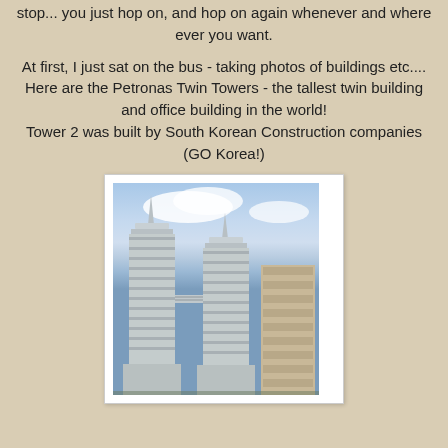stop... you just hop on, and hop on again whenever and where ever you want.
At first, I just sat on the bus - taking photos of buildings etc....
Here are the Petronas Twin Towers - the tallest twin building and office building in the world!
Tower 2 was built by South Korean Construction companies (GO Korea!)
[Figure (photo): Photo of the Petronas Twin Towers in Kuala Lumpur, Malaysia, taken from below looking up, with blue sky and clouds in background and a shorter building visible to the right.]